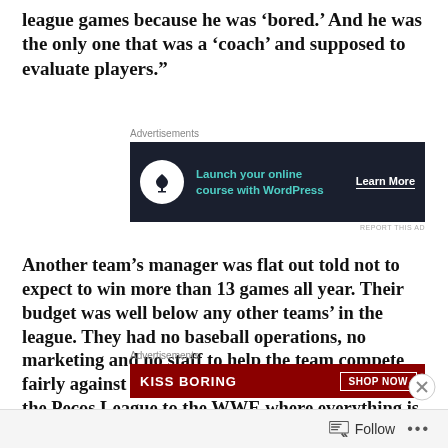league games because he was ‘bored.’  And he was the only one that was a ‘coach’ and supposed to evaluate players.”
[Figure (other): Advertisement banner: dark navy background with a bonsai tree icon in a white circle, teal text reading 'Launch your online course with WordPress', and a 'Learn More' button in white. Label 'Advertisements' above.]
Another team’s manager was flat out told not to expect to win more than 13 games all year.  Their budget was well below any other teams’ in the league.  They had no baseball operations, no marketing and no staff to help the team compete fairly against other teams.  The manager compared the Pecos League to the WWE where everything is predetermined in the league’s mind, and if you go against it, you’re gone.  The team went on to win 20 games over their
[Figure (other): Advertisement banner with dark red background showing 'KISS BORING' text and a 'SHOP NOW' button. Label 'Advertisements' above. A close (X) button is visible to the right.]
Follow  •••